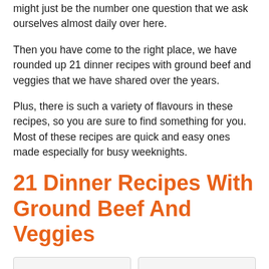might just be the number one question that we ask ourselves almost daily over here.
Then you have come to the right place, we have rounded up 21 dinner recipes with ground beef and veggies that we have shared over the years.
Plus, there is such a variety of flavours in these recipes, so you are sure to find something for you. Most of these recipes are quick and easy ones made especially for busy weeknights.
21 Dinner Recipes With Ground Beef And Veggies
[Figure (photo): Two image placeholders side by side at the bottom of the page]